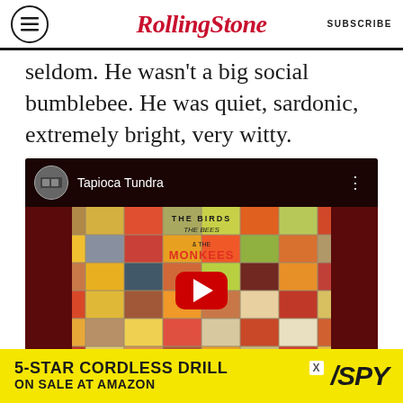RollingStone | SUBSCRIBE
seldom. He wasn’t a big social bumblebee. He was quiet, sardonic, extremely bright, very witty.
[Figure (screenshot): YouTube video embed showing Tapioca Tundra with The Birds, The Bees & The Monkees album cover]
When it comes to country-rock, he was a
[Figure (other): Advertisement banner: 5-STAR CORDLESS DRILL ON SALE AT AMAZON / SPY logo]